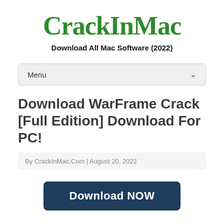CrackInMac
Download All Mac Software (2022)
Menu
Download WarFrame Crack [Full Edition] Download For PC!
By CrackInMac.Com | August 20, 2022
Download NOW